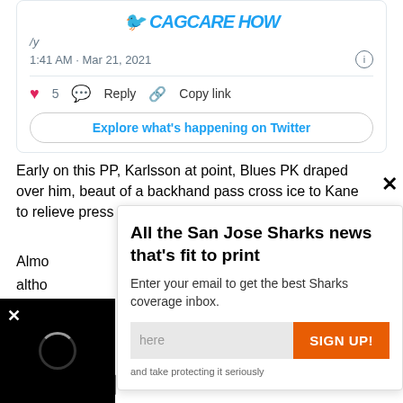[Figure (screenshot): Twitter/X social media post embed showing timestamp 1:41 AM · Mar 21, 2021 with like (5), reply, and copy link actions, and an Explore what's happening on Twitter button]
Early on this PP, Karlsson at point, Blues PK draped over him, beaut of a backhand pass cross ice to Kane to relieve press
Almo
altho
[Figure (screenshot): Newsletter signup popup: All the San Jose Sharks news that's fit to print. Enter your email to get the best Sharks coverage inbox. Email input field and SIGN UP! orange button. Privacy text: and take protecting it seriously]
[Figure (screenshot): Black video player box with X close button and loading spinner]
PE